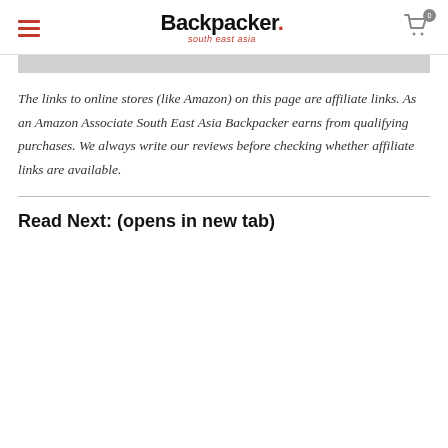Backpacker. south east asia
The links to online stores (like Amazon) on this page are affiliate links. As an Amazon Associate South East Asia Backpacker earns from qualifying purchases. We always write our reviews before checking whether affiliate links are available.
Read Next: (opens in new tab)